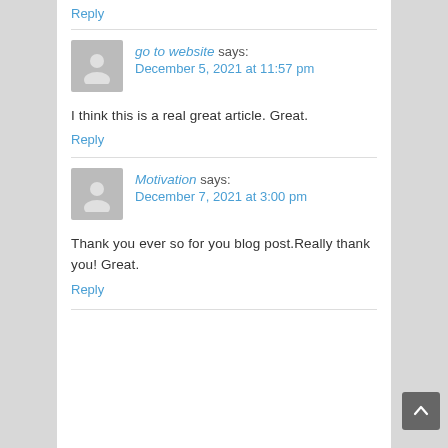Reply
go to website says:
December 5, 2021 at 11:57 pm
I think this is a real great article. Great.
Reply
Motivation says:
December 7, 2021 at 3:00 pm
Thank you ever so for you blog post.Really thank you! Great.
Reply